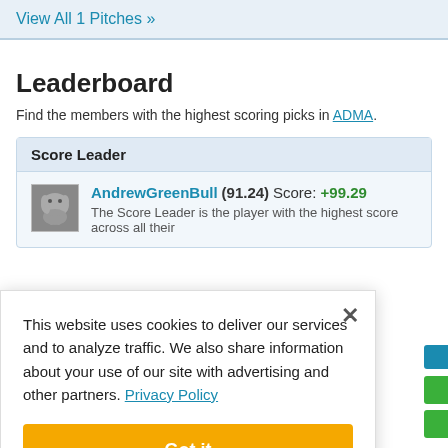View All 1 Pitches »
Leaderboard
Find the members with the highest scoring picks in ADMA.
Score Leader
AndrewGreenBull (91.24) Score: +99.29
The Score Leader is the player with the highest score across all their
This website uses cookies to deliver our services and to analyze traffic. We also share information about your use of our site with advertising and other partners. Privacy Policy
Got it
Cookie Settings